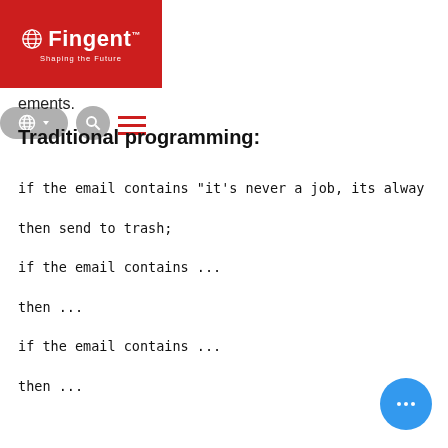Fingent - Shaping the Future (logo and navigation)
ements.
Traditional programming:
if the email contains "it's never a job, its alway

then send to trash;

if the email contains ...

then ...

if the email contains ...

then ...